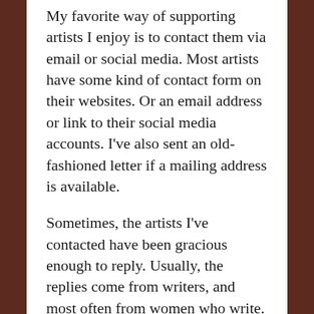My favorite way of supporting artists I enjoy is to contact them via email or social media. Most artists have some kind of contact form on their websites. Or an email address or link to their social media accounts. I've also sent an old-fashioned letter if a mailing address is available.
Sometimes, the artists I've contacted have been gracious enough to reply. Usually, the replies come from writers, and most often from women who write. The most common response I get is the person thank me for contacting them and for reading their work.
There's an old saying that we should always be kind to others because we don't know what kind of battles they're facing on any